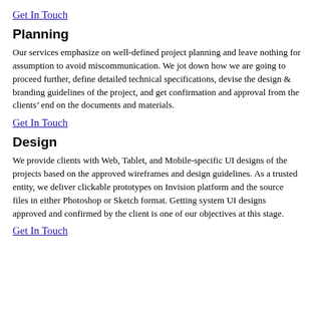Get In Touch
Planning
Our services emphasize on well-defined project planning and leave nothing for assumption to avoid miscommunication. We jot down how we are going to proceed further, define detailed technical specifications, devise the design & branding guidelines of the project, and get confirmation and approval from the clients' end on the documents and materials.
Get In Touch
Design
We provide clients with Web, Tablet, and Mobile-specific UI designs of the projects based on the approved wireframes and design guidelines. As a trusted entity, we deliver clickable prototypes on Invision platform and the source files in either Photoshop or Sketch format. Getting system UI designs approved and confirmed by the client is one of our objectives at this stage.
Get In Touch